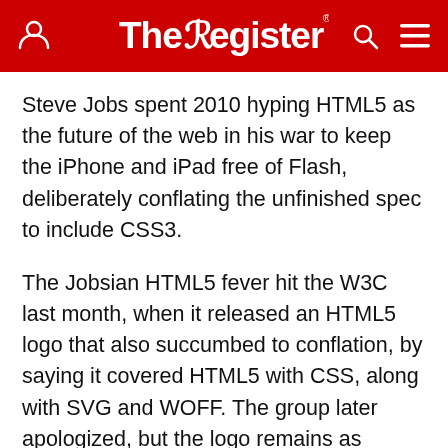The Register
Steve Jobs spent 2010 hyping HTML5 as the future of the web in his war to keep the iPhone and iPad free of Flash, deliberately conflating the unfinished spec to include CSS3.
The Jobsian HTML5 fever hit the W3C last month, when it released an HTML5 logo that also succumbed to conflation, by saying it covered HTML5 with CSS, along with SVG and WOFF. The group later apologized, but the logo remains as something you can slap on any web site without undergoing any certification or testing to prove your HTML5 cred.
Microsoft contracted the Jobsian plague ahead of the